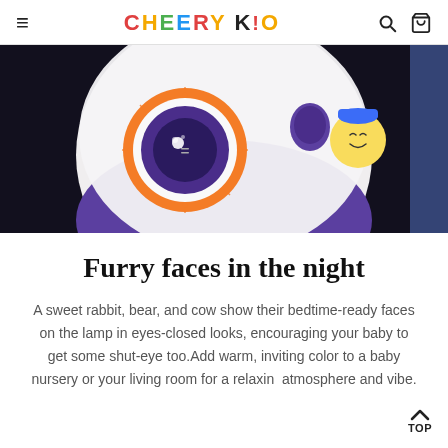CHEERY KID
[Figure (photo): Close-up photo of a white and purple spherical baby night light projector with an orange circular control panel featuring a purple lens in the center, shown against a dark background.]
Furry faces in the night
A sweet rabbit, bear, and cow show their bedtime-ready faces on the lamp in eyes-closed looks, encouraging your baby to get some shut-eye too.Add warm, inviting color to a baby nursery or your living room for a relaxing atmosphere and vibe.